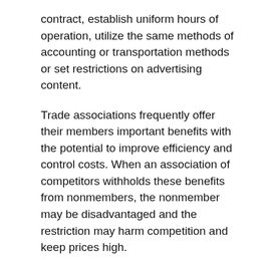contract, establish uniform hours of operation, utilize the same methods of accounting or transportation methods or set restrictions on advertising content.
Trade associations frequently offer their members important benefits with the potential to improve efficiency and control costs. When an association of competitors withholds these benefits from nonmembers, the nonmember may be disadvantaged and the restriction may harm competition and keep prices high.
There is also the potential for the association to become involved in antitrust issues which occur during association-sponsored events, but without the knowledge or involvement of the association's leadership. At the opening of all association events or meetings, members should be advised of the importance